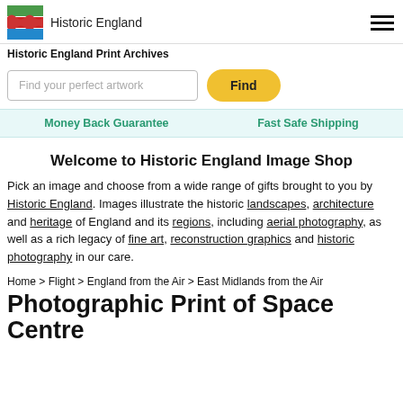[Figure (logo): Historic England logo with green, red, and blue horizontal stripes and text 'Historic England']
Historic England Print Archives
Find your perfect artwork
Find
Money Back Guarantee    Fast Safe Shipping
Welcome to Historic England Image Shop
Pick an image and choose from a wide range of gifts brought to you by Historic England. Images illustrate the historic landscapes, architecture and heritage of England and its regions, including aerial photography, as well as a rich legacy of fine art, reconstruction graphics and historic photography in our care.
Home > Flight > England from the Air > East Midlands from the Air
Photographic Print of Space Centre